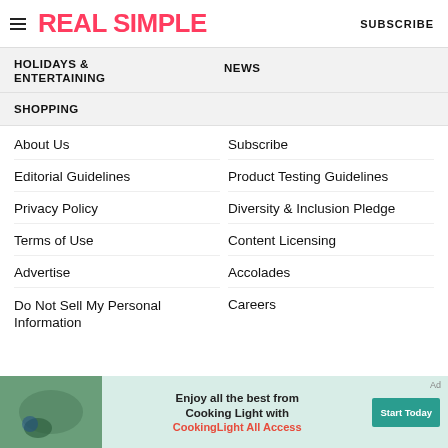REAL SIMPLE | SUBSCRIBE
HOLIDAYS & ENTERTAINING
NEWS
SHOPPING
About Us
Subscribe
Editorial Guidelines
Product Testing Guidelines
Privacy Policy
Diversity & Inclusion Pledge
Terms of Use
Content Licensing
Advertise
Accolades
Do Not Sell My Personal Information
Careers
[Figure (screenshot): Advertisement banner for CookingLight All Access: 'Enjoy all the best from Cooking Light with CookingLight All Access' with a Start Today button]